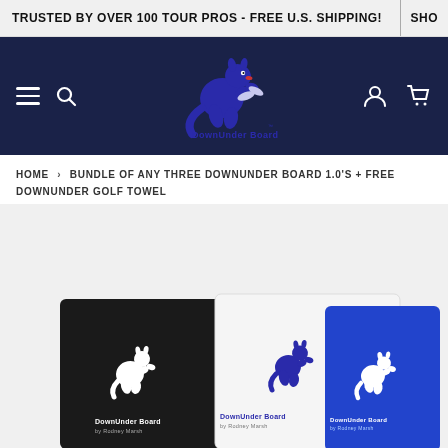TRUSTED BY OVER 100 TOUR PROS - FREE U.S. SHIPPING!  SHO
[Figure (logo): DownUnder Board logo with blue kangaroo mascot on dark navy navigation bar]
HOME > BUNDLE OF ANY THREE DOWNUNDER BOARD 1.0'S + FREE DOWNUNDER GOLF TOWEL
[Figure (photo): Three DownUnder Board golf training boards shown side by side - black, white, and blue versions, each with white kangaroo logo and DownUnder Board branding, with a white golf towel visible at bottom]